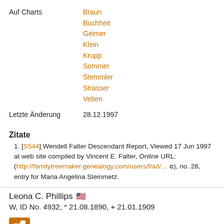Auf Charts: Braun, Buchheit, Geimer, Klein, Krupp, Sommer, Stemmler, Strasser, Velten
Letzte Änderung: 28.12.1997
Zitate
[S544] Wendell Falter Descendant Report, Viewed 17 Jun 1997 at web site compiled by Vincent E. Falter, Online URL: (http://familytreemaker.genealogy.com/users/f/a/l/… ), no. 28, entry for Maria Angelina Steinmetz.
Leona C. Phillips W, ID No. 4932, * 21.08.1890, + 21.01.1909
Vater: Joseph Phillips * 1856, + 1919